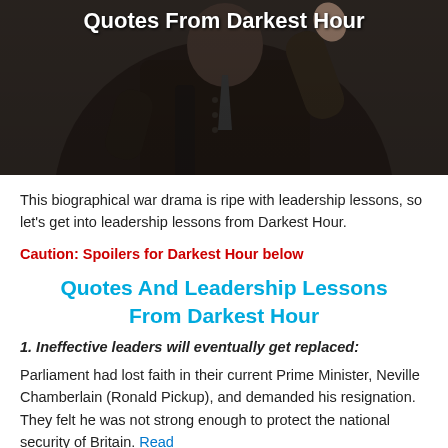[Figure (photo): A dark-suited man (Churchill figure) raising a hand against a dark background, with white bold text overlay reading 'Quotes From Darkest Hour']
This biographical war drama is ripe with leadership lessons, so let's get into leadership lessons from Darkest Hour.
Caution: Spoilers for Darkest Hour below
Quotes And Leadership Lessons From Darkest Hour
1. Ineffective leaders will eventually get replaced:
Parliament had lost faith in their current Prime Minister, Neville Chamberlain (Ronald Pickup), and demanded his resignation. They felt he was not strong enough to protect the national security of Britain. Read...